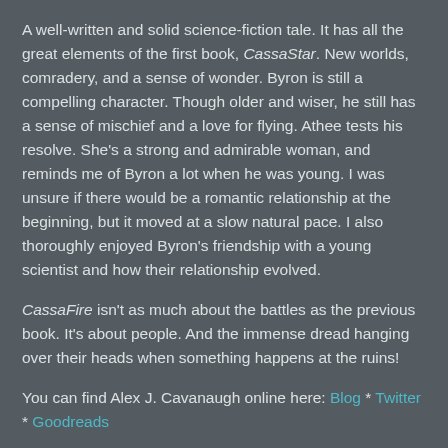A well-written and solid science-fiction tale. It has all the great elements of the first book, CassaStar. New worlds, comradery, and a sense of wonder. Byron is still a compelling character. Though older and wiser, he still has a sense of mischief and a love for flying. Athee tests his resolve. She's a strong and admirable woman, and reminds me of Byron a lot when he was young. I was unsure if there would be a romantic relationship at the beginning, but it moved at a slow natural pace. I also thoroughly enjoyed Byron's friendship with a young scientist and how their relationship evolved.
CassaFire isn't as much about the battles as the previous book. It's about people. And the immense dread hanging over their heads when something happens at the ruins!
You can find Alex J. Cavanaugh online here: Blog * Twitter * Goodreads
Purchase links for CassaFire: Amazon * B&N
Christine Rains at 8:00 AM